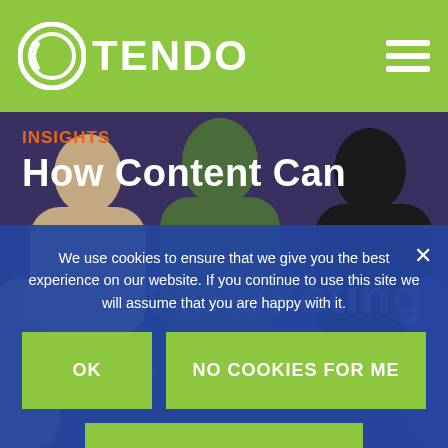OTENDO
[Figure (logo): Otendo logo with circular swirl icon and text TENDO on green header bar]
INSIGHTS
How Content Can
[Figure (illustration): Colorful silhouette illustration of multiple people in a crowded group, used as hero background image]
We use cookies to ensure that we give you the best experience on our website. If you continue to use this site we will assume that you are happy with it.
OK
NO COOKIES FOR ME
PRIVACY POLICY
Event Marketing
by Tendo Team
September 24, 2015